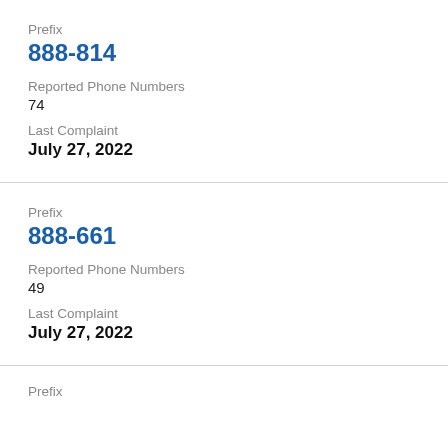Prefix
888-814
Reported Phone Numbers
74
Last Complaint
July 27, 2022
Prefix
888-661
Reported Phone Numbers
49
Last Complaint
July 27, 2022
Prefix